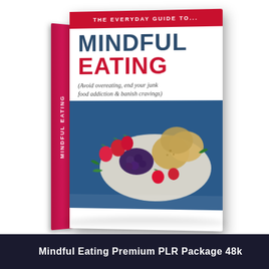[Figure (illustration): 3D rendered book cover of 'The Everyday Guide to... Mindful Eating (Avoid overeating, end your junk food addiction & banish cravings)' with a food photograph on the lower half of the cover showing strawberries, blackberries, and crackers on a plate. The book has a crimson/pink spine and cover trim, white background with dark blue and red title text.]
Mindful Eating Premium PLR Package 48k